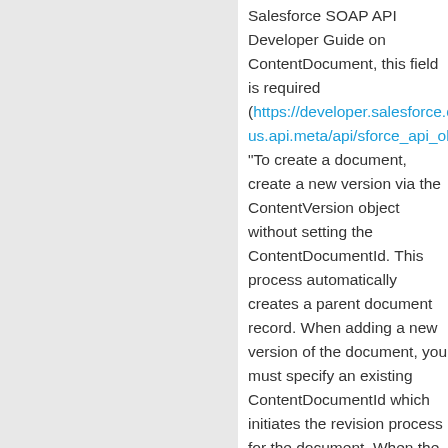Salesforce SOAP API Developer Guide on ContentDocument, this field is required (https://developer.salesforce.com/docs/a us.api.meta/api/sforce_api_objects_conte “To create a document, create a new version via the ContentVersion object without setting the ContentDocumentId. This process automatically creates a parent document record. When adding a new version of the document, you must specify an existing ContentDocumentId which initiates the revision process for the document. When the latest